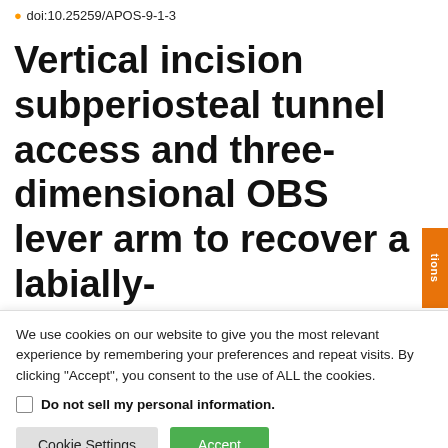doi:10.25259/APOS-9-1-3
Vertical incision subperiosteal tunnel access and three-dimensional OBS lever arm to recover a labially-
We use cookies on our website to give you the most relevant experience by remembering your preferences and repeat visits. By clicking “Accept”, you consent to the use of ALL the cookies.
Do not sell my personal information.
Cookie Settings | Accept